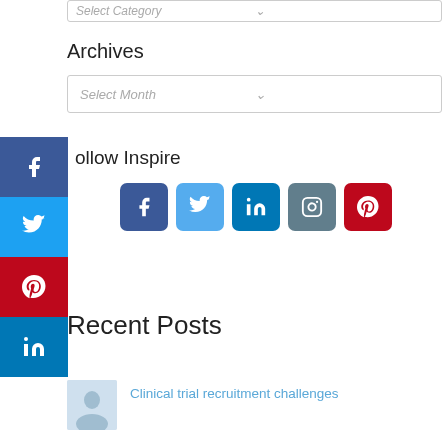Select Category
Archives
Select Month
Follow Inspire
[Figure (infographic): Social media icons row: Facebook, Twitter, LinkedIn, Instagram, Pinterest]
[Figure (infographic): Social sharing sidebar with Facebook, Twitter, Pinterest, LinkedIn icons]
Recent Posts
Clinical trial recruitment challenges